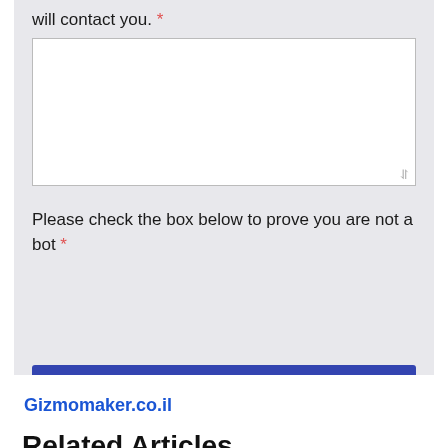will contact you. *
[Figure (other): Empty textarea input box]
Please check the box below to prove you are not a bot *
[Figure (other): CAPTCHA widget placeholder area]
Send Message
Gizmomaker.co.il
Related Articles